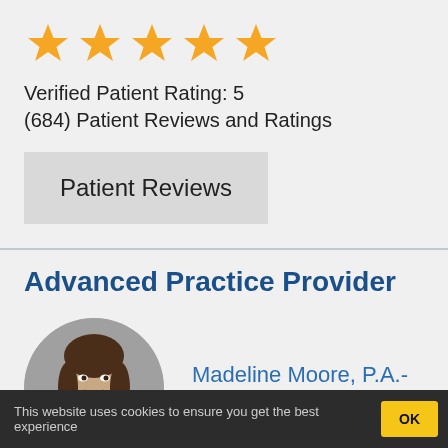[Figure (other): Five gold star rating icons in a row]
Verified Patient Rating: 5
(684) Patient Reviews and Ratings
Patient Reviews
Advanced Practice Provider
[Figure (photo): Circular headshot photo of Madeline Moore, P.A.-C., a woman with long dark hair wearing a dark blazer, smiling, against a gray background]
Madeline Moore, P.A.-C.
This website uses cookies to ensure you get the best experience